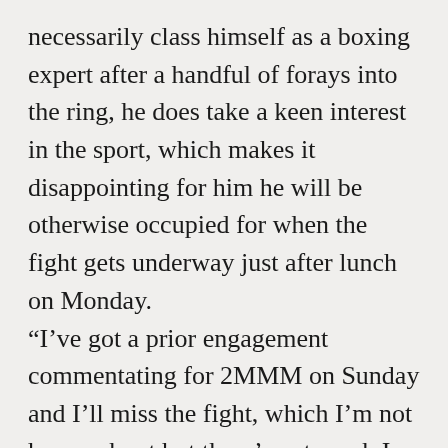necessarily class himself as a boxing expert after a handful of forays into the ring, he does take a keen interest in the sport, which makes it disappointing for him he will be otherwise occupied for when the fight gets underway just after lunch on Monday.
“I’ve got a prior engagement commentating for 2MMM on Sunday and I’ll miss the fight, which I’m not happy about but there’s not much I can do,” Gallen said. “Hopefully they will have access to it in the studio, but we’re on-air for six hours.
“I really wanted to see it. No doubt it will be a